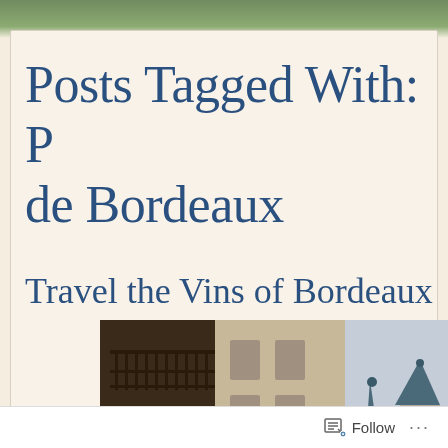[Figure (photo): Top strip showing green foliage/trees, partially cropped]
Posts Tagged With: 
de Bordeaux
Travel the Vins of Bordeaux
[Figure (photo): Street view of Bordeaux architecture with ornate wrought-iron balconies on left and blue-capped church spires/towers on right against a light sky]
Follow